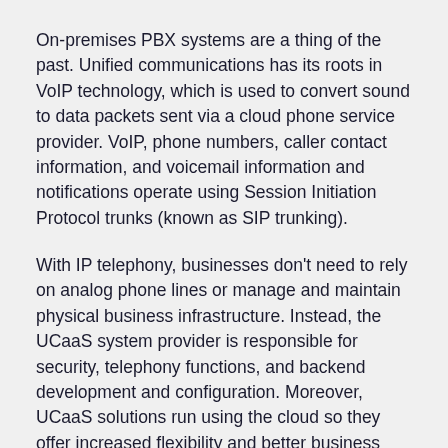On-premises PBX systems are a thing of the past. Unified communications has its roots in VoIP technology, which is used to convert sound to data packets sent via a cloud phone service provider. VoIP, phone numbers, caller contact information, and voicemail information and notifications operate using Session Initiation Protocol trunks (known as SIP trunking).
With IP telephony, businesses don't need to rely on analog phone lines or manage and maintain physical business infrastructure. Instead, the UCaaS system provider is responsible for security, telephony functions, and backend development and configuration. Moreover, UCaaS solutions run using the cloud so they offer increased flexibility and better business continuity in case of a natural disasters or any situation where data loss might occur.